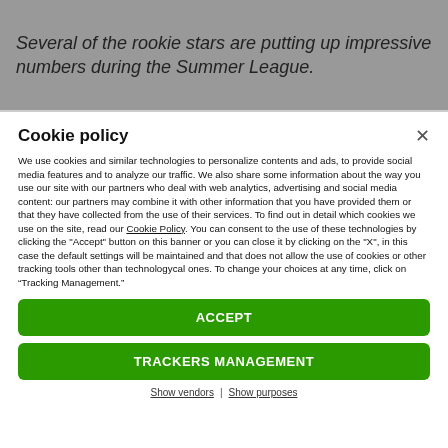Several of the rookie stars are putting up impressive numbers during the Summer League.
Cookie policy
We use cookies and similar technologies to personalize contents and ads, to provide social media features and to analyze our traffic. We also share some information about the way you use our site with our partners who deal with web analytics, advertising and social media content: our partners may combine it with other information that you have provided them or that they have collected from the use of their services. To find out in detail which cookies we use on the site, read our Cookie Policy. You can consent to the use of these technologies by clicking the "Accept" button on this banner or you can close it by clicking on the "X", in this case the default settings will be maintained and that does not allow the use of cookies or other tracking tools other than technologycal ones. To change your choices at any time, click on “Tracking Management.”
ACCEPT
TRACKERS MANAGEMENT
Show vendors | Show purposes